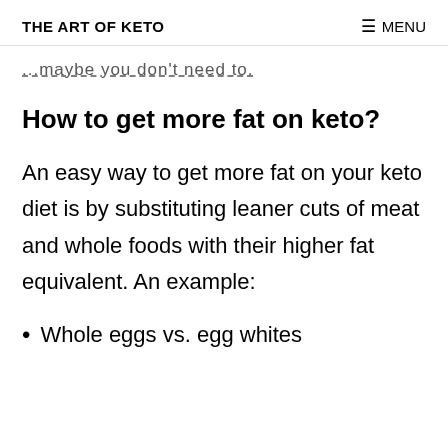THE ART OF KETO    ≡ MENU
...maybe you don't need to.
How to get more fat on keto?
An easy way to get more fat on your keto diet is by substituting leaner cuts of meat and whole foods with their higher fat equivalent. An example:
Whole eggs vs. egg whites